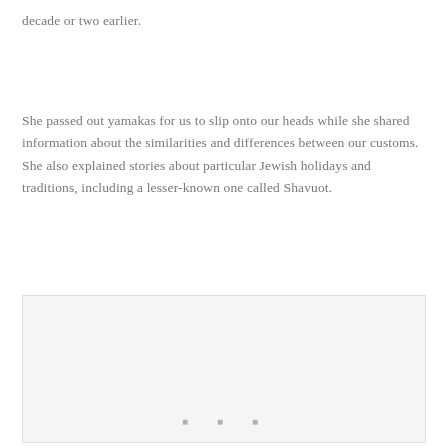decade or two earlier.
She passed out yamakas for us to slip onto our heads while she shared information about the similarities and differences between our customs. She also explained stories about particular Jewish holidays and traditions, including a lesser-known one called Shavuot.
[Figure (photo): A light gray rectangular image placeholder with three small dots at the bottom center, suggesting an embedded photo or image.]